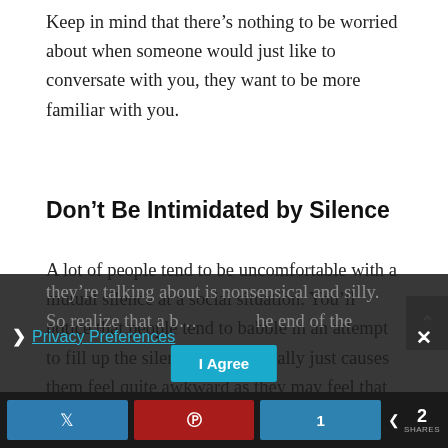Keep in mind that there’s nothing to be worried about when someone would just like to conversate with you, they want to be more familiar with you.
Don’t Be Intimidated by Silence
A lot of people tend to be uncomfortable with a mutual silence at a social situation. You’ll notice that people tend to babble in an attempt to fill up the silence, but that really just causes them feel quite awkward as they may feel that what they’re talking about is nonsensical and silly. So realize that a b... he end of the
Privacy Preferences
I Agree
2 SHARES